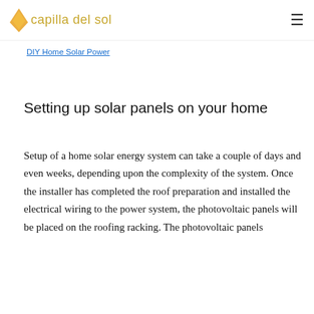capilla del sol
DIY Home Solar Power
Setting up solar panels on your home
Setup of a home solar energy system can take a couple of days and even weeks, depending upon the complexity of the system. Once the installer has completed the roof preparation and installed the electrical wiring to the power system, the photovoltaic panels will be placed on the roofing racking. The photovoltaic panels will be connected to the inverter and